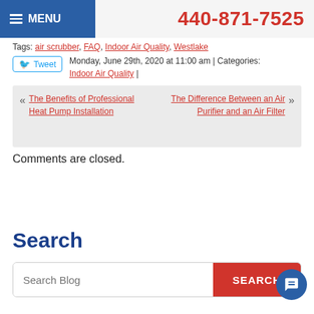MENU | 440-871-7525
Tags: air scrubber, FAQ, Indoor Air Quality, Westlake
Monday, June 29th, 2020 at 11:00 am | Categories: Indoor Air Quality |
« The Benefits of Professional Heat Pump Installation     The Difference Between an Air Purifier and an Air Filter »
Comments are closed.
Search
Search Blog  SEARCH